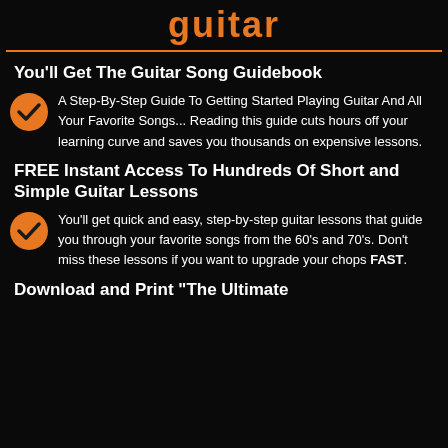guitar
You'll Get The Guitar Song Guidebook
A Step-By-Step Guide To Getting Started Playing Guitar And All Your Favorite Songs... Reading this guide cuts hours off your learning curve and saves you thousands on expensive lessons.
FREE Instant Access To Hundreds Of Short and Simple Guitar Lessons
You'll get quick and easy, step-by-step guitar lessons that guide you through your favorite songs from the 60's and 70's. Don't miss these lessons if you want to upgrade your chops FAST.
Download and Print "The Ultimate